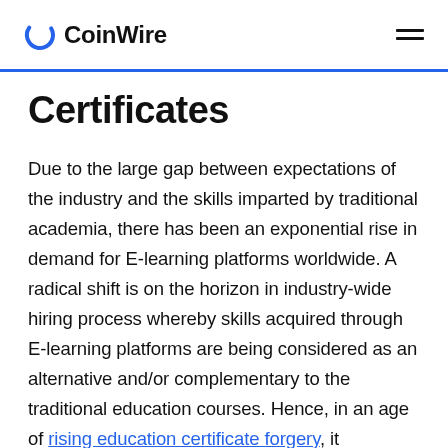CoinWire
Certificates
Due to the large gap between expectations of the industry and the skills imparted by traditional academia, there has been an exponential rise in demand for E-learning platforms worldwide. A radical shift is on the horizon in industry-wide hiring process whereby skills acquired through E-learning platforms are being considered as an alternative and/or complementary to the traditional education courses. Hence, in an age of rising education certificate forgery, it